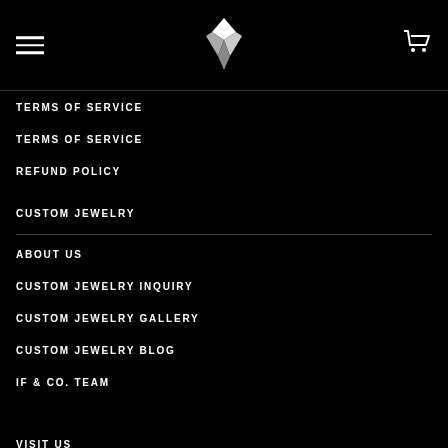[Figure (logo): IF & Co. logo — white geometric diamond/facet shape on black background, with hamburger menu icon on left and shopping cart icon on right]
TERMS OF SERVICE
TERMS OF SERVICE
REFUND POLICY
CUSTOM JEWELRY
ABOUT US
CUSTOM JEWELRY INQUIRY
CUSTOM JEWELRY GALLERY
CUSTOM JEWELRY BLOG
IF & CO. TEAM
VISIT US